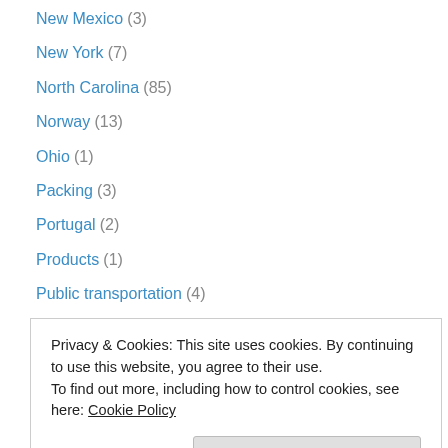New Mexico (3)
New York (7)
North Carolina (85)
Norway (13)
Ohio (1)
Packing (3)
Portugal (2)
Products (1)
Public transportation (4)
Road travel (41)
Romance (7)
Scotland (1)
snow (4)
Privacy & Cookies: This site uses cookies. By continuing to use this website, you agree to their use. To find out more, including how to control cookies, see here: Cookie Policy
Travel books (19)